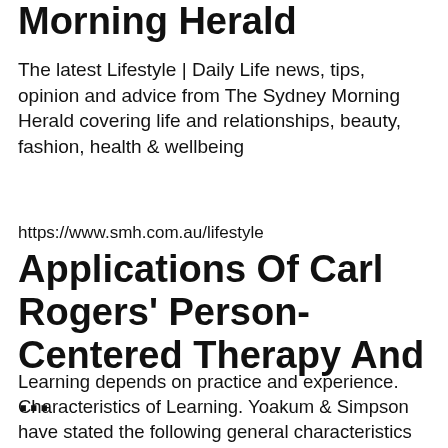Morning Herald
The latest Lifestyle | Daily Life news, tips, opinion and advice from The Sydney Morning Herald covering life and relationships, beauty, fashion, health & wellbeing
https://www.smh.com.au/lifestyle
Applications Of Carl Rogers' Person-Centered Therapy And ...
Learning depends on practice and experience. Characteristics of Learning. Yoakum & Simpson have stated the following general characteristics of learning: Learning is growth, adjustment, an organisation of experience, purposeful, both individual and